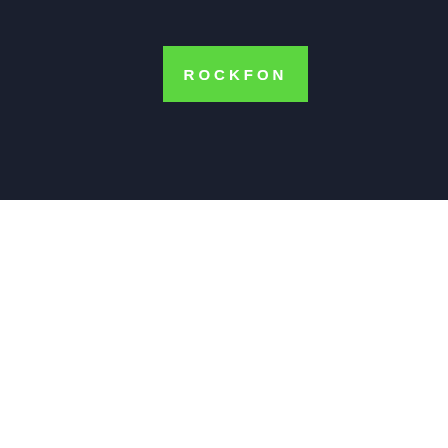[Figure (logo): Rockfon logo — white bold text on green rectangle background, set against a dark navy background]
[Figure (other): Scroll-to-top button — upward chevron arrow on grey rounded square, positioned at right edge over white section]